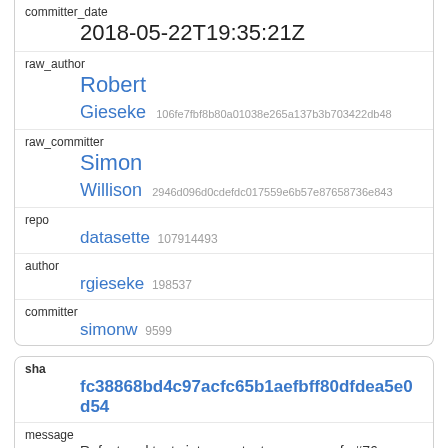| committer_date | 2018-05-22T19:35:21Z |
| raw_author | Robert
Gieseke 106fe7fbf8b80a01038e265a137b3b703422db48 |
| raw_committer | Simon
Willison 2946d096d0cdefdc017559e6b57e87658736e843 |
| repo | datasette 107914493 |
| author | rgieseke 198537 |
| committer | simonw 9599 |
| sha | fc38868bd4c97acfc65b1aefbff80dfdea5e0d54 |
| message | Refactored tests into new test_rows.py, refs #76 |